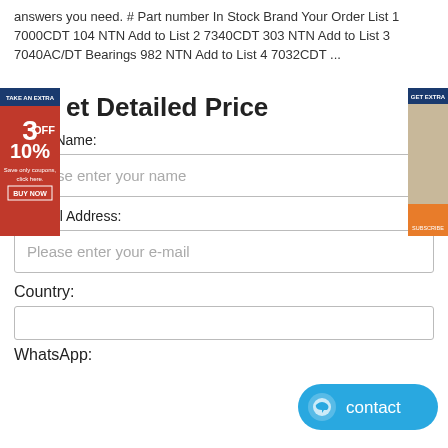answers you need. # Part number In Stock Brand Your Order List 1 7000CDT 104 NTN Add to List 2 7340CDT 303 NTN Add to List 3 7040AC/DT Bearings 982 NTN Add to List 4 7032CDT ...
[Figure (infographic): Red promotional banner on left side saying TAKE AN EXTRA 3 OFF 10% with BUY NOW button. Orange/blue banner with woman photo on right side saying GET EXTRA.]
Get Detailed Price
* Your Name:
Please enter your name
* E-Mail Address:
Please enter your e-mail
Country:
WhatsApp:
[Figure (infographic): Blue rounded contact button with chat icon and text 'contact']